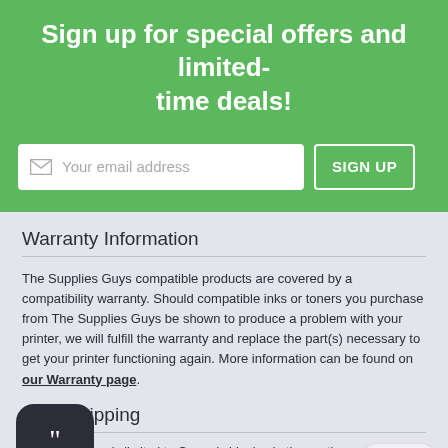Sign up for special offers and limited-time deals!
[Figure (screenshot): Email signup form with input field showing 'Your email address' placeholder and a 'SIGN UP' button]
Warranty Information
The Supplies Guys compatible products are covered by a compatibility warranty. Should compatible inks or toners you purchase from The Supplies Guys be shown to produce a problem with your printer, we will fulfill the warranty and replace the part(s) necessary to get your printer functioning again. More information can be found on our Warranty page.
Free Shipping
* Free Shipping is limited to Ground shipping in the contiguous 48 states. Excludes Hawaii, Alaska and Puerto Rico.
[Figure (illustration): Chat widget icon — dark rounded square with quotation mark]
[Figure (other): Top button — rounded pill with 'Top' text and up arrow]